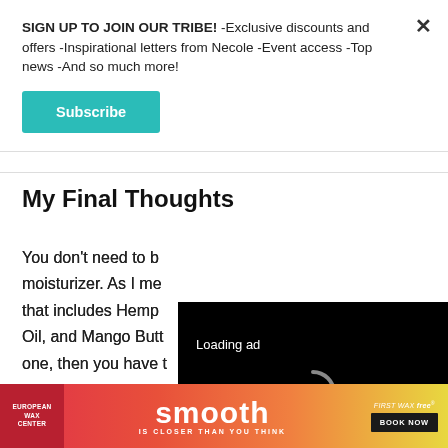SIGN UP TO JOIN OUR TRIBE! -Exclusive discounts and offers -Inspirational letters from Necole -Event access -Top news -And so much more!
Subscribe
My Final Thoughts
You don't need to b... moisturizer. As I me... that includes Hemp... Oil, and Mango Butt... one, then you have t...
[Figure (screenshot): Video ad player overlay with 'Loading ad' text, a spinner icon, and playback controls (pause, expand, mute) on a black background]
[Figure (infographic): European Wax Center 'smooth IS CLOSER THAN YOU THINK' banner advertisement with 'FIRST WAX free' and 'BOOK NOW' button]